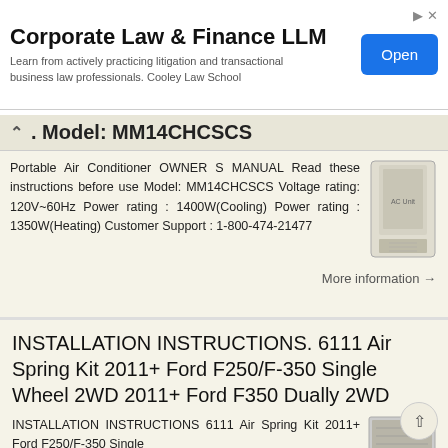[Figure (screenshot): Advertisement banner for Corporate Law & Finance LLM from Cooley Law School with an Open button]
. Model: MM14CHCSCS
Portable Air Conditioner OWNER S MANUAL Read these instructions before use Model: MM14CHCSCS Voltage rating: 120V~60Hz Power rating : 1400W(Cooling) Power rating : 1350W(Heating) Customer Support : 1-800-474-21477
More information →
INSTALLATION INSTRUCTIONS. 6111 Air Spring Kit 2011+ Ford F250/F-350 Single Wheel 2WD 2011+ Ford F350 Dually 2WD
INSTALLATION INSTRUCTIONS 6111 Air Spring Kit 2011+ Ford F250/F-350 Single